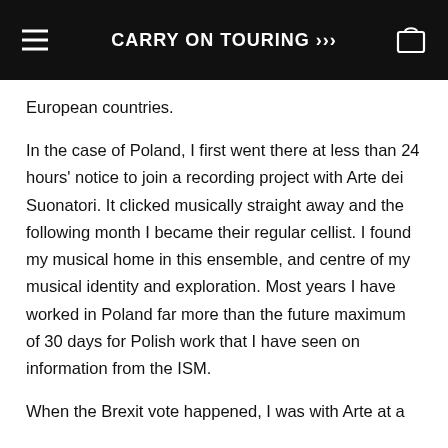CARRY ON TOURING >>>
European countries.
In the case of Poland, I first went there at less than 24 hours' notice to join a recording project with Arte dei Suonatori. It clicked musically straight away and the following month I became their regular cellist. I found my musical home in this ensemble, and centre of my musical identity and exploration. Most years I have worked in Poland far more than the future maximum of 30 days for Polish work that I have seen on information from the ISM.
When the Brexit vote happened, I was with Arte at a